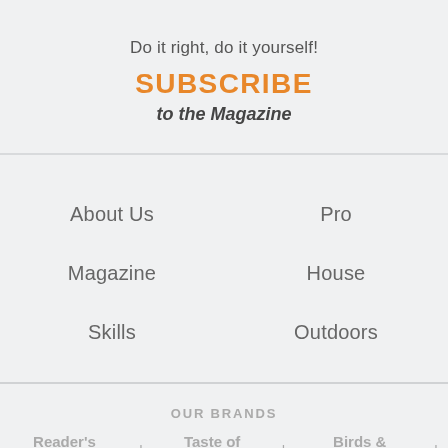Do it right, do it yourself!
SUBSCRIBE
to the Magazine
About Us
Pro
Magazine
House
Skills
Outdoors
OUR BRANDS
Reader's Digest | Taste of Home | Birds & Blooms |